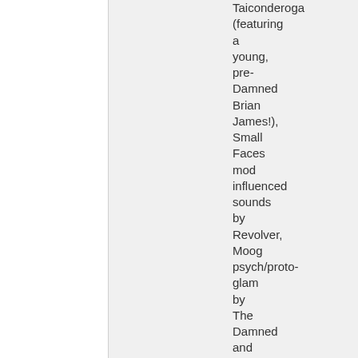Taiconderoga (featuring a young, pre-Damned Brian James!), Small Faces mod influenced sounds by Revolver, Moog psych/proto-glam by The Damned and much more. Remastered